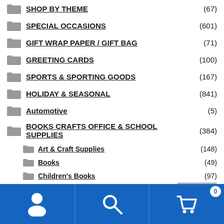SHOP BY THEME (67)
SPECIAL OCCASIONS (601)
GIFT WRAP PAPER / GIFT BAG (71)
GREETING CARDS (100)
SPORTS & SPORTING GOODS (167)
HOLIDAY & SEASONAL (841)
Automotive (5)
BOOKS CRAFTS OFFICE & SCHOOL SUPPLIES (384)
Art & Craft Supplies (148)
Books (49)
Children's Books (97)